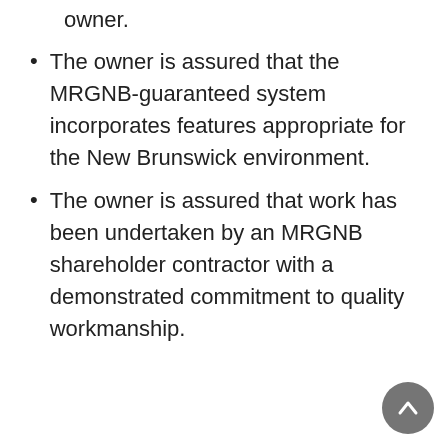owner.
The owner is assured that the MRGNB-guaranteed system incorporates features appropriate for the New Brunswick environment.
The owner is assured that work has been undertaken by an MRGNB shareholder contractor with a demonstrated commitment to quality workmanship.